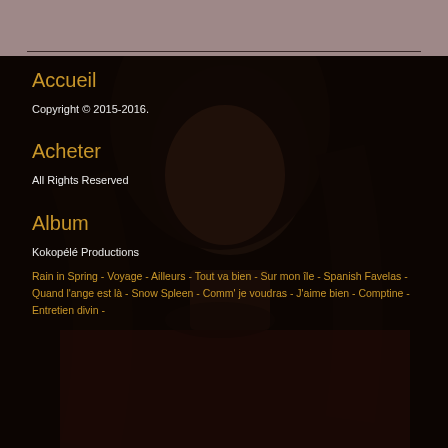[Figure (photo): Dark background photo of a woman with dark hair, looking upward, wearing a dark red/burgundy top with layered necklaces. The image has a dark, moody tone.]
Accueil
Copyright © 2015-2016.
Acheter
All Rights Reserved
Album
Kokopélé Productions
Rain in Spring - Voyage - Ailleurs - Tout va bien - Sur mon île - Spanish Favelas - Quand l'ange est là - Snow Spleen - Comm' je voudras - J'aime bien - Comptine - Entretien divin -